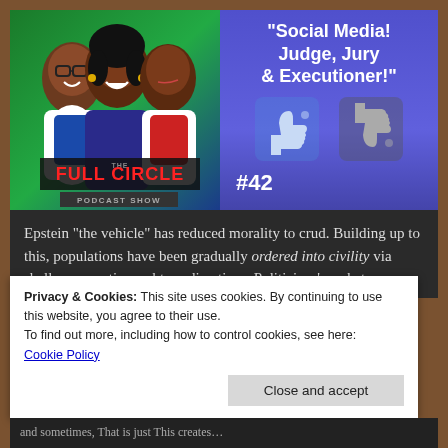[Figure (illustration): Full Circle Podcast Show cover art: cartoon illustration of three people (two men and a woman) with the text 'THE FULL CIRCLE PODCAST SHOW' overlaid.]
[Figure (illustration): Purple panel with episode title 'Social Media! Judge, Jury & Executioner!' and Facebook thumbs up and thumbs down icons, and episode number #42.]
Epstein “the vehicle” has reduced morality to crud. Building up to this, populations have been gradually ordered into civility via shallow, sometimes obtuse directives. Politicians’ market
Privacy & Cookies: This site uses cookies. By continuing to use this website, you agree to their use.
To find out more, including how to control cookies, see here:
Cookie Policy
Close and accept